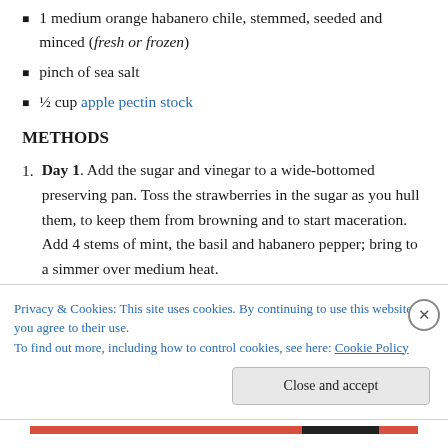1 medium orange habanero chile, stemmed, seeded and minced (fresh or frozen)
pinch of sea salt
½ cup apple pectin stock
METHODS
Day 1. Add the sugar and vinegar to a wide-bottomed preserving pan. Toss the strawberries in the sugar as you hull them, to keep them from browning and to start maceration. Add 4 stems of mint, the basil and habanero pepper; bring to a simmer over medium heat.
Privacy & Cookies: This site uses cookies. By continuing to use this website, you agree to their use. To find out more, including how to control cookies, see here: Cookie Policy